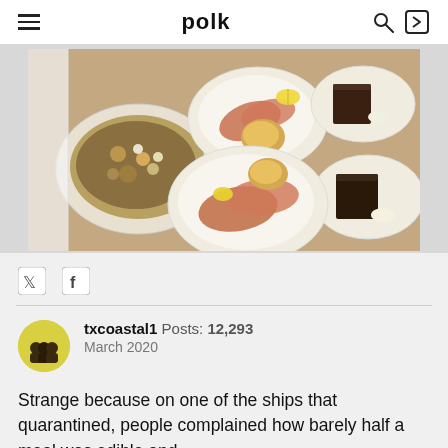polk
[Figure (photo): Overhead view of restaurant/buffet plates on a granite counter: a bowl of mixed salad with nuts and cheese, a plate with smoked salmon and a roll with lemon, another similar salmon plate, and two plates with chocolate cake slices and whipped cream.]
txcoastal1  Posts: 12,293
March 2020
Strange because on one of the ships that quarantined, people complained how barely half a meal was edible and